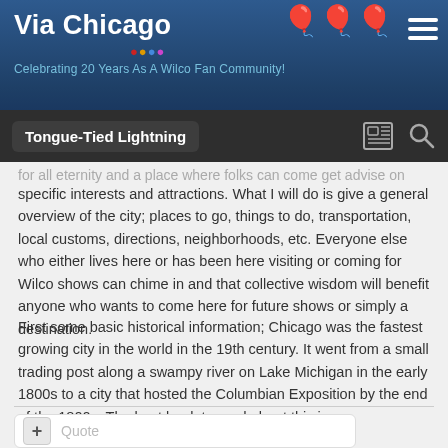Via Chicago — Celebrating 20 Years As A Wilco Fan Community!
Tongue-Tied Lightning
for all eternity and a place where folks can come get advise on specific interests and attractions. What I will do is give a general overview of the city; places to go, things to do, transportation, local customs, directions, neighborhoods, etc. Everyone else who either lives here or has been here visiting or coming for Wilco shows can chime in and that collective wisdom will benefit anyone who wants to come here for future shows or simply a destination.
First some basic historical information; Chicago was the fastest growing city in the world in the 19th century. It went from a small trading post along a swampy river on Lake Michigan in the early 1800s to a city that hosted the Columbian Exposition by the end of the 1800s. The best book to read about this is